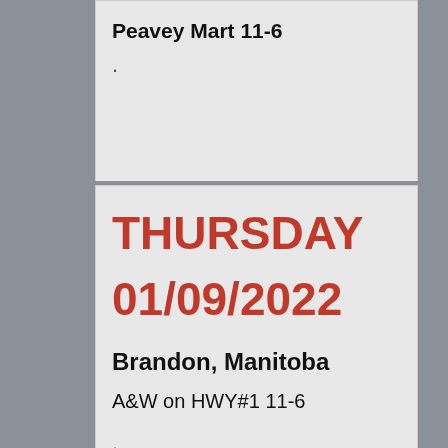Peavey Mart 11-6
THURSDAY
01/09/2022
Brandon, Manitoba
A&W on HWY#1 11-6
THURSDAY